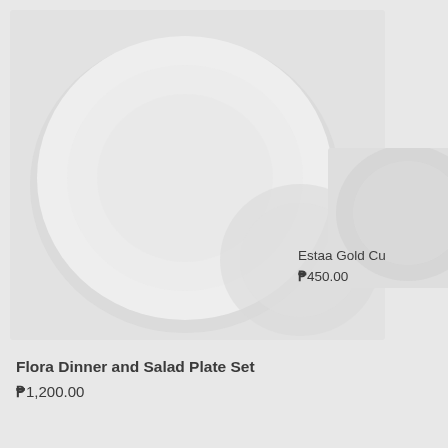[Figure (photo): Product photo of Flora Dinner and Salad Plate Set — white ceramic plates on light grey background, partially cropped]
[Figure (photo): Partial product photo of Estaa Gold Cu[p/tler] item on light grey background, right side cropped]
Estaa Gold Cu
₱450.00
Flora Dinner and Salad Plate Set
₱1,200.00